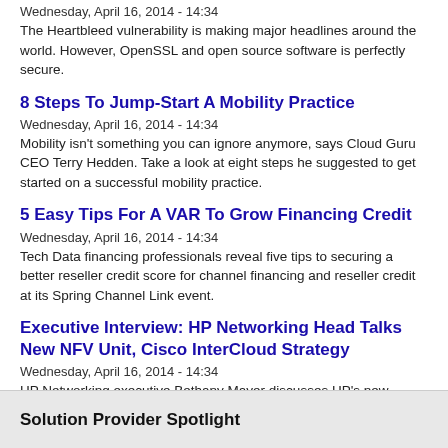Wednesday, April 16, 2014 - 14:34
The Heartbleed vulnerability is making major headlines around the world. However, OpenSSL and open source software is perfectly secure.
8 Steps To Jump-Start A Mobility Practice
Wednesday, April 16, 2014 - 14:34
Mobility isn't something you can ignore anymore, says Cloud Guru CEO Terry Hedden. Take a look at eight steps he suggested to get started on a successful mobility practice.
5 Easy Tips For A VAR To Grow Financing Credit
Wednesday, April 16, 2014 - 14:34
Tech Data financing professionals reveal five tips to securing a better reseller credit score for channel financing and reseller credit at its Spring Channel Link event.
Executive Interview: HP Networking Head Talks New NFV Unit, Cisco InterCloud Strategy
Wednesday, April 16, 2014 - 14:34
HP Networking executive Bethany Mayer discusses HP's new Network Functions Virtualization unit and how HP's cloud strategy differs from Cisco's. Here's a look at the interview.
Solution Provider Spotlight